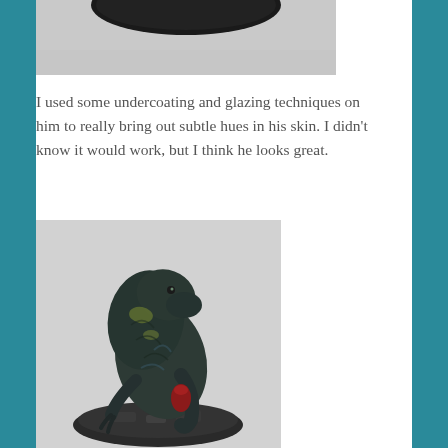[Figure (photo): Top portion of a painted miniature figure on a dark base, cropped — only the base and lower portion visible against a light gray background.]
I used some undercoating and glazing techniques on him to really bring out subtle hues in his skin. I didn't know it would work, but I think he looks great.
[Figure (photo): A painted fantasy/sci-fi miniature figure of a hunched creature with dark green-blue skin, clawed hands, and a red item, mounted on a dark round base with rubble details. Photographed against a light gray background.]